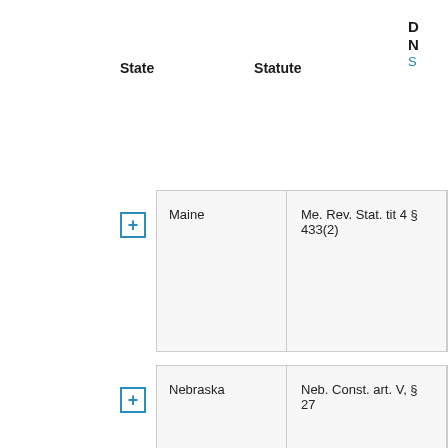D
N
S
| State | Statute |
| --- | --- |
| Maine | Me. Rev. Stat. tit 4 § 433(2) |
| Nebraska | Neb. Const. art. V, § 27 |